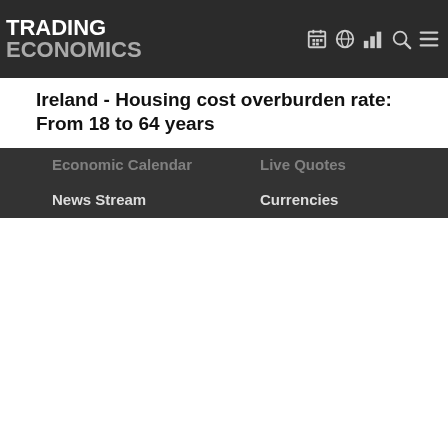TRADING ECONOMICS
Ireland - Housing cost overburden rate: From 18 to 64 years
Economic Calendar
News Stream
Earnings Releases
Credit Ratings
Forecasts
Live Quotes
Currencies
Stocks
Commodities
Bonds
Get Started